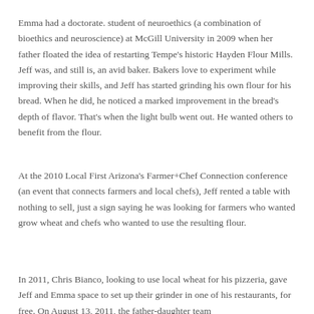Emma had a doctorate. student of neuroethics (a combination of bioethics and neuroscience) at McGill University in 2009 when her father floated the idea of restarting Tempe's historic Hayden Flour Mills. Jeff was, and still is, an avid baker. Bakers love to experiment while improving their skills, and Jeff has started grinding his own flour for his bread. When he did, he noticed a marked improvement in the bread's depth of flavor. That's when the light bulb went out. He wanted others to benefit from the flour.
At the 2010 Local First Arizona's Farmer+Chef Connection conference (an event that connects farmers and local chefs), Jeff rented a table with nothing to sell, just a sign saying he was looking for farmers who wanted grow wheat and chefs who wanted to use the resulting flour.
In 2011, Chris Bianco, looking to use local wheat for his pizzeria, gave Jeff and Emma space to set up their grinder in one of his restaurants, for free. On August 13, 2011, the father-daughter team